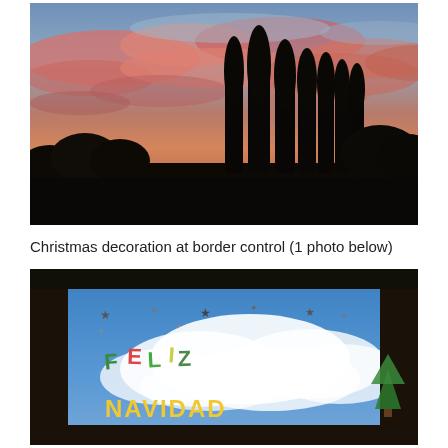[Figure (photo): Sunset or dusk sky with pink and orange clouds over dark silhouetted trees (tall poplar-like trees and shrubs) in the foreground. Sky transitions from blue-grey at top to warm orange-pink near the horizon.]
Christmas decoration at border control (1 photo below)
[Figure (photo): Photo taken through a window showing a blue sky with white clouds. Hanging window decorations spell out 'FELIZ NAVIDAD' in colorful letters, with star-shaped ornaments and small Christmas tree cutouts. Dark window frame borders the image.]